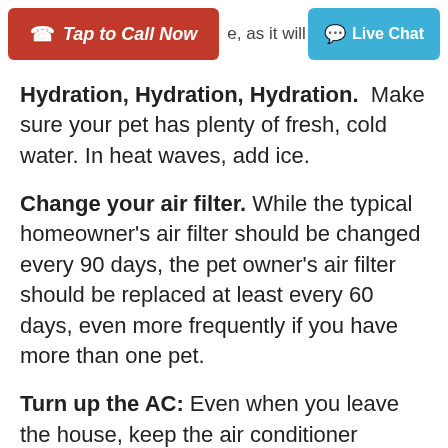Tap to Call Now | ...e, as it will be | Live Chat
Hydration, Hydration, Hydration. Make sure your pet has plenty of fresh, cold water. In heat waves, add ice.
Change your air filter. While the typical homeowner's air filter should be changed every 90 days, the pet owner's air filter should be replaced at least every 60 days, even more frequently if you have more than one pet.
Turn up the AC: Even when you leave the house, keep the air conditioner running to keep your pet comfortable. He will likely find a spot on the tile to keep his whole body cool.